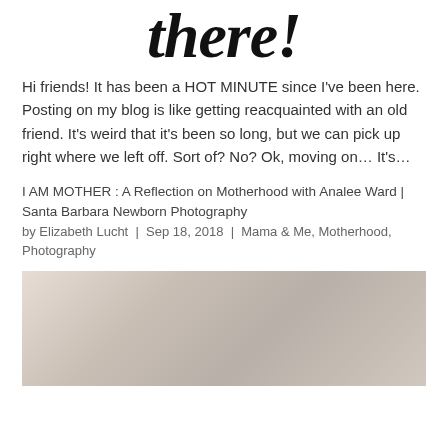there!
Hi friends! It has been a HOT MINUTE since I've been here. Posting on my blog is like getting reacquainted with an old friend. It's weird that it's been so long, but we can pick up right where we left off. Sort of? No? Ok, moving on… It's…
I AM MOTHER : A Reflection on Motherhood with Analee Ward | Santa Barbara Newborn Photography
by Elizabeth Lucht  |  Sep 18, 2018  |  Mama & Me, Motherhood, Photography
[Figure (photo): A woman with long blonde hair kissing a newborn baby. The photo is partially visible, cropped at the bottom of the page.]